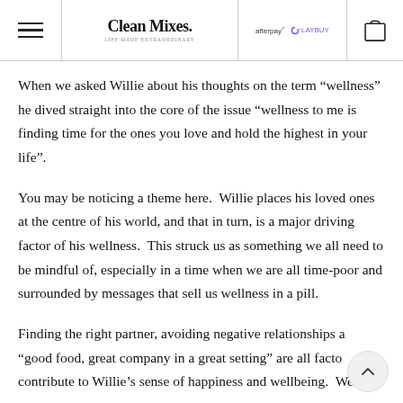Clean Mixes. | afterpay | laybuy
When we asked Willie about his thoughts on the term “wellness” he dived straight into the core of the issue “wellness to me is finding time for the ones you love and hold the highest in your life”.
You may be noticing a theme here.  Willie places his loved ones at the centre of his world, and that in turn, is a major driving factor of his wellness.  This struck us as something we all need to be mindful of, especially in a time when we are all time-poor and surrounded by messages that sell us wellness in a pill.
Finding the right partner, avoiding negative relationships and “good food, great company in a great setting” are all factors that contribute to Willie’s sense of happiness and wellbeing.  We